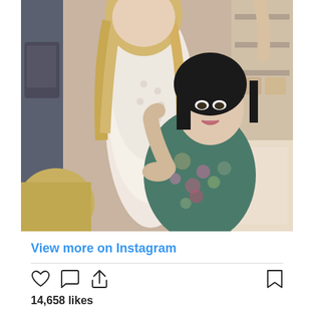[Figure (photo): Two women posing together indoors. One woman is taller with long blonde hair wearing a white crochet/knit top. The other woman has short dark hair with bangs and is wearing a floral blue/green top, leaning against the blonde woman. Background shows a cluttered room with bags and shelves.]
View more on Instagram
14,658 likes